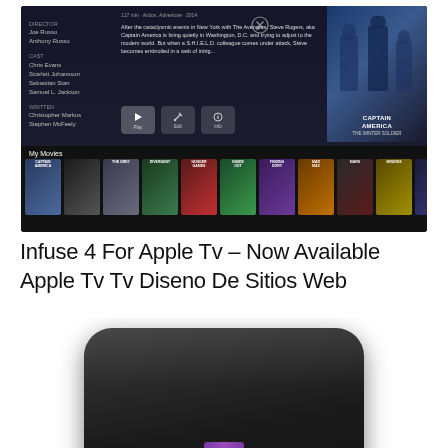[Figure (screenshot): Screenshot of Infuse 4 app on Apple TV showing Captain America: The Winter Soldier movie detail page with cast credits on left, movie description in center, Captain America poster on right, action buttons (Play, Edit, Info), and a My Movies shelf at the bottom showing multiple movie posters including The Grey, Divergent, Hunger Games, Inside Out, Finding Dory, Mad Max, and others.]
Infuse 4 For Apple Tv – Now Available Apple Tv Tv Diseno De Sitios Web
[Figure (photo): Top-down photo of a black Apple TV set-top box device with rounded corners and a circular logo/button in the center, shown against a white background with a purple/blue cable visible at the bottom edge.]